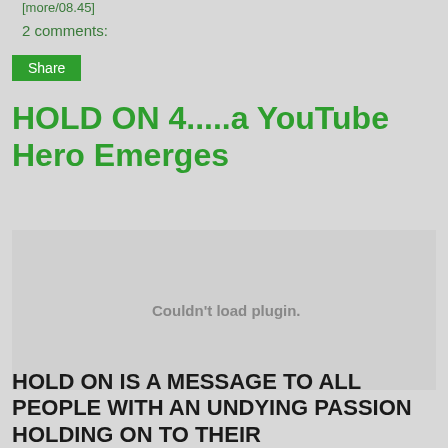[more/08.45]
2 comments:
Share
HOLD ON 4.....a YouTube Hero Emerges
[Figure (other): Couldn't load plugin. — embedded video plugin placeholder, grey box]
HOLD ON IS A MESSAGE TO ALL PEOPLE WITH AN UNDYING PASSION HOLDING ON TO THEIR